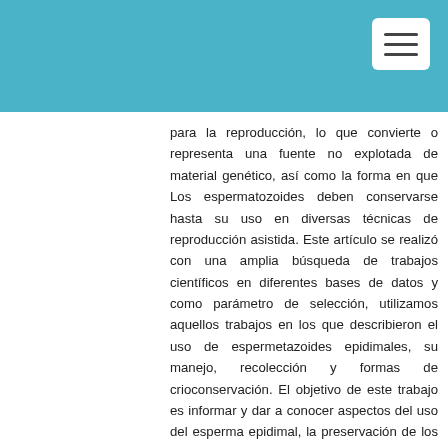[Figure (other): Teal/blue header bar with a white hamburger menu button in the top right corner]
para la reproducción, lo que convierte o representa una fuente no explotada de material genético, así como la forma en que Los espermatozoides deben conservarse hasta su uso en diversas técnicas de reproducción asistida. Este artículo se realizó con una amplia búsqueda de trabajos científicos en diferentes bases de datos y como parámetro de selección, utilizamos aquellos trabajos en los que describieron el uso de espermetazoides epidimales, su manejo, recolección y formas de crioconservación. El objetivo de este trabajo es informar y dar a conocer aspectos del uso del esperma epidimal, la preservación de los testículos, la espermatogénesis en el epidídimo, las técnicas de recolección y la conservación de los espermatozoides para su uso posterior. Se puede concluir que el uso de espermatozoides es una técnica